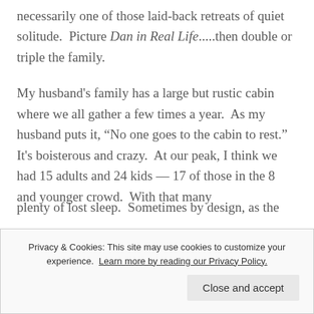necessarily one of those laid-back retreats of quiet solitude.  Picture Dan in Real Life.....then double or triple the family.
My husband's family has a large but rustic cabin where we all gather a few times a year.  As my husband puts it, “No one goes to the cabin to rest.”  It's boisterous and crazy.  At our peak, I think we had 15 adults and 24 kids — 17 of those in the 8 and younger crowd.  With that many
plenty of lost sleep.  Sometimes by design, as the
Privacy & Cookies: This site may use cookies to customize your experience.  Learn more by reading our Privacy Policy.
Close and accept